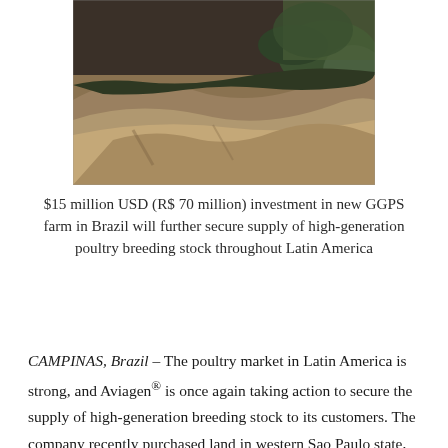[Figure (photo): Aerial photograph of rolling, dry brown hills with patches of green trees and vegetation in the background, taken in Brazil.]
$15 million USD (R$ 70 million) investment in new GGPS farm in Brazil will further secure supply of high-generation poultry breeding stock throughout Latin America
CAMPINAS, Brazil – The poultry market in Latin America is strong, and Aviagen® is once again taking action to secure the supply of high-generation breeding stock to its customers. The company recently purchased land in western Sao Paulo state, Brazil, for a brand-new Great Grandparent Stock (GGPS) farm. The location is